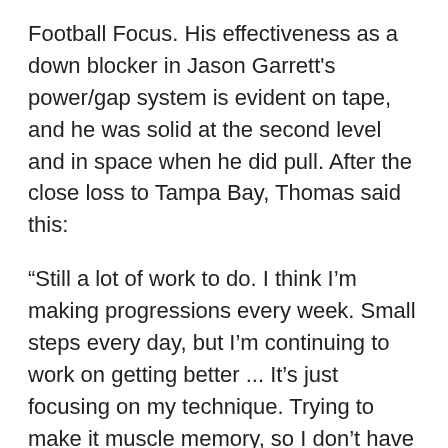Football Focus. His effectiveness as a down blocker in Jason Garrett's power/gap system is evident on tape, and he was solid at the second level and in space when he did pull. After the close loss to Tampa Bay, Thomas said this:
“Still a lot of work to do. I think I’m making progressions every week. Small steps every day, but I’m continuing to work on getting better ... It’s just focusing on my technique. Trying to make it muscle memory, so I don’t have to think about it. There will be some plays where I might slip up with my hand placement or my footwork in my set. Just trying to nail all those things in so I do it every time.”
We saw Thomas’s progress at the end of the season and he looked much more like the player the Giants